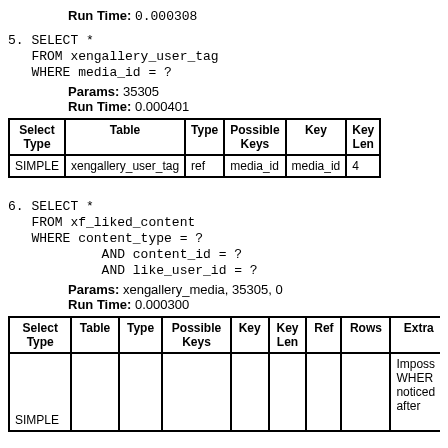Run Time: 0.000308
5. SELECT *
   FROM xengallery_user_tag
   WHERE media_id = ?
Params: 35305
Run Time: 0.000401
| Select Type | Table | Type | Possible Keys | Key | Key Len |
| --- | --- | --- | --- | --- | --- |
| SIMPLE | xengallery_user_tag | ref | media_id | media_id | 4 |
6. SELECT *
   FROM xf_liked_content
   WHERE content_type = ?
           AND content_id = ?
           AND like_user_id = ?
Params: xengallery_media, 35305, 0
Run Time: 0.000300
| Select Type | Table | Type | Possible Keys | Key | Key Len | Ref | Rows | Extra |
| --- | --- | --- | --- | --- | --- | --- | --- | --- |
|  |  |  |  |  |  |  |  | Imposs WHERE noticed after |
| SIMPLE |  |  |  |  |  |  |  |  |